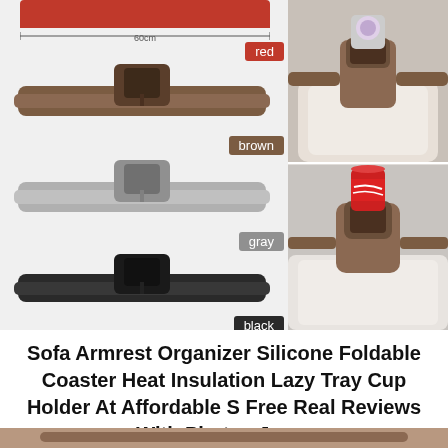[Figure (photo): Product composite image showing sofa armrest organizer/cup holder in four color variants (red top partially visible, brown, gray, black) on left side, with two lifestyle photos on right side showing the brown cup holder on a sofa armrest — one with a drink can on top and one with a soda can.]
Sofa Armrest Organizer Silicone Foldable Coaster Heat Insulation Lazy Tray Cup Holder At Affordable S Free Real Reviews With Photos Joom
[Figure (photo): Partial bottom image showing another product view, cropped at page bottom.]